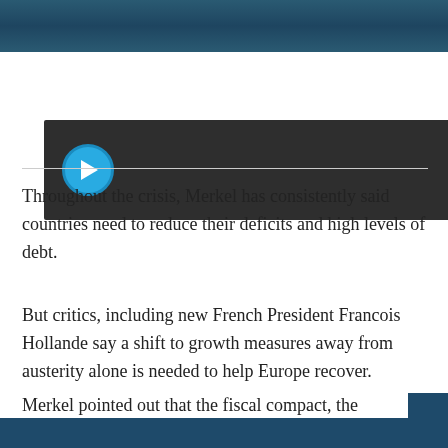[Figure (screenshot): Dark teal/slate gradient header bar at top of page]
[Figure (screenshot): Video player thumbnail with dark background and blue circular play button on the left]
Throughout the crisis, Merkel has consistently said countries need to reduce their deficits and high levels of debt.
But critics, including new French President Francois Hollande say a shift to growth measures away from austerity alone is needed to help Europe recover.
Merkel pointed out that the fiscal compact, the